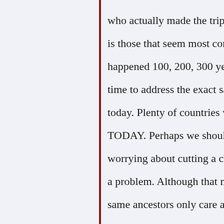who actually made the trip. What I find inter is those that seem most concerned about wha happened 100, 200, 300 years ago, can't find time to address the exact same problem happ today. Plenty of countries where slavery happ TODAY. Perhaps we should fix that before worrying about cutting a check to the ancesto a problem. Although that might just be why t same ancestors only care about reparations a stopping it from happening to others right no